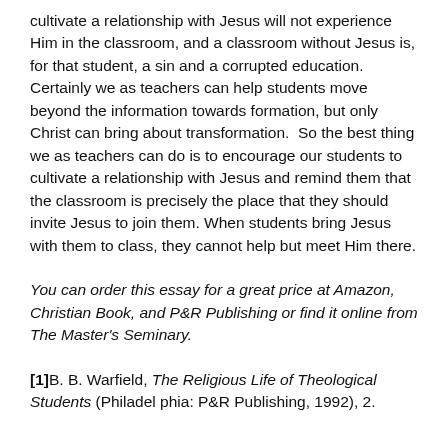cultivate a relationship with Jesus will not experience Him in the classroom, and a classroom without Jesus is, for that student, a sin and a corrupted education. Certainly we as teachers can help students move beyond the information towards formation, but only Christ can bring about transformation.  So the best thing we as teachers can do is to encourage our students to cultivate a relationship with Jesus and remind them that the classroom is precisely the place that they should invite Jesus to join them. When students bring Jesus with them to class, they cannot help but meet Him there.
You can order this essay for a great price at Amazon, Christian Book, and P&R Publishing or find it online from The Master's Seminary.
[1]B. B. Warfield, The Religious Life of Theological Students (Philadelphia: P&R Publishing, 1992), 2.